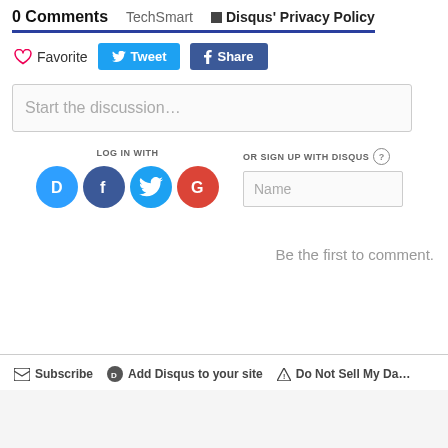0 Comments  TechSmart  Disqus' Privacy Policy
Favorite  Tweet  Share
Start the discussion…
LOG IN WITH
OR SIGN UP WITH DISQUS
Name
Be the first to comment.
Subscribe   Add Disqus to your site   Do Not Sell My Da…